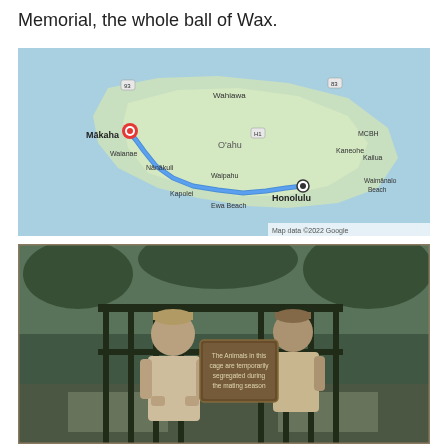Memorial, the whole ball of Wax.
[Figure (map): Google Maps screenshot showing a route from Mākaha to Honolulu on the island of O'ahu, Hawaii. The blue route line goes from Mākaha (marked with a red pin) along the southwestern coast through Nānākuli, Waipahu, Kapolei, Ewa Beach, and ends at Honolulu (marked with a circle). Other locations shown include Wahiawa, Waianae, MCBH, Kaneohe, Kailua, Waimānalo Beach. Map data ©2022 Google.]
[Figure (photo): Old photograph of two men standing behind bars or a cage-like gate at what appears to be a zoo. A sign on the bars reads: 'The Animals in this cage are temporarily segregated during the mating season.' Both men are wearing caps and light-colored shirts. The photo has a vintage, sepia-toned quality.]